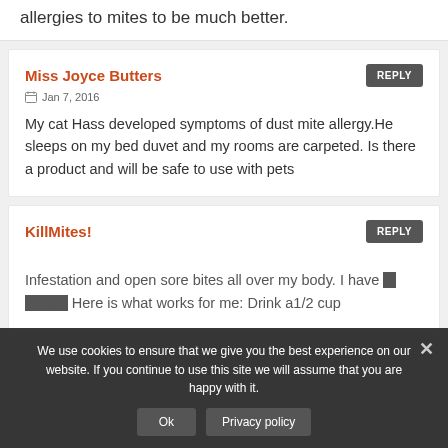allergies to mites to be much better.
Miss Joyce Butters
Jan 7, 2016
My cat Hass developed symptoms of dust mite allergy.He sleeps on my bed duvet and my rooms are carpeted. Is there a product and will be safe to use with pets
KillMites!
Infestation and open sore bites all over my body. I have... nt things. Here is what works for me: Drink a1/2 cup
We use cookies to ensure that we give you the best experience on our website. If you continue to use this site we will assume that you are happy with it.